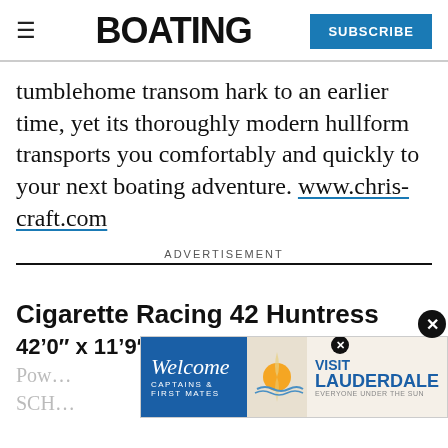BOATING | SUBSCRIBE
tumblehome transom hark to an earlier time, yet its thoroughly modern hullform transports you comfortably and quickly to your next boating adventure. www.chris-craft.com
ADVERTISEMENT
Cigarette Racing 42 Huntress
42’0″ x 11’9″ x 18,900 lb
Pow… 350
SCH…